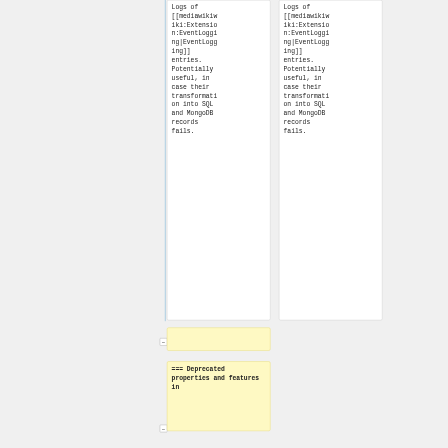Logs of [[mediawiki:Extension:EventLogging|EventLogging]] entries. Potentially useful, in case their transformation into SQL and MongoDB records fails.
Logs of [[mediawiki:Extension:EventLogging|EventLogging]] entries. Potentially useful, in case their transformation into SQL and MongoDB records fails.
-
=== Deprecated properties and features in